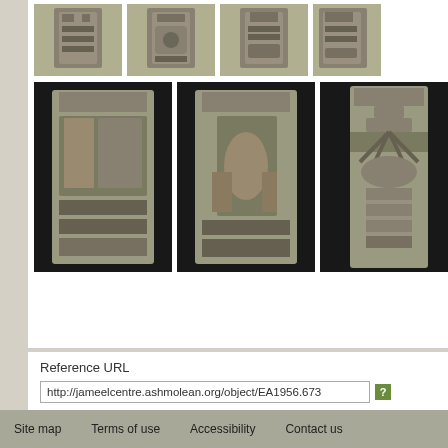[Figure (photo): Grid of 7 photographs of ancient bronze/stone sculptural artifacts, arranged in two rows — top row has 4 images, bottom row has 3 images. Objects appear to be ornate column-like sculptures with figures.]
Reference URL
http://jameelcentre.ashmolean.org/object/EA1956.673
Actions
Contact us
Order image
Email
Print
Site map   Terms of use   Accessibility   Contact us